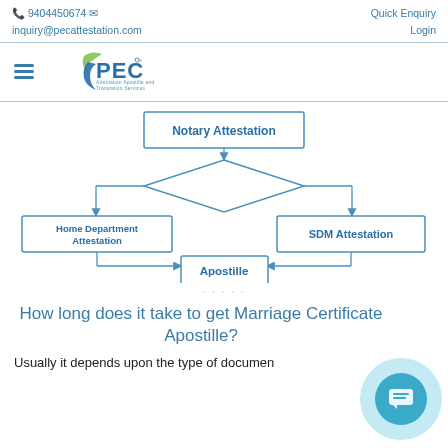📞 9404450674 ✉ inquiry@pecattestation.com | Quick Enquiry Login
[Figure (logo): PEC logo with text 'Attestation Apostille and Translation Services']
[Figure (flowchart): Flowchart: Notary Attestation at top, branching to Home Department Attestation and SDM Attestation, both converging to Apostille at bottom]
How long does it take to get Marriage Certificate Apostille?
Usually it depends upon the type of document